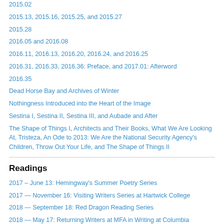2015.02
2015.13, 2015.16, 2015.25, and 2015.27
2015.28
2016.05 and 2016.08
2016.11, 2016.13, 2016.20, 2016.24, and 2016.25
2016.31, 2016.33, 2016.36: Preface, and 2017.01: Afterword
2016.35
Dead Horse Bay and Archives of Winter
Nothingness Introduced into the Heart of the Image
Sestina I, Sestina II, Sestina III, and Aubade and After
The Shape of Things I, Architects and Their Books, What We Are Looking At, Tristeza, An Ode to 2013: We Are the National Security Agency's Children, Throw Out Your Life, and The Shape of Things II
Readings
2017 – June 13: Hemingway's Summer Poetry Series
2017 — November 16: Visiting Writers Series at Hartwick College
2018 — September 18: Red Dragon Reading Series
2018 — May 17: Returning Writers at MFA in Writing at Columbia